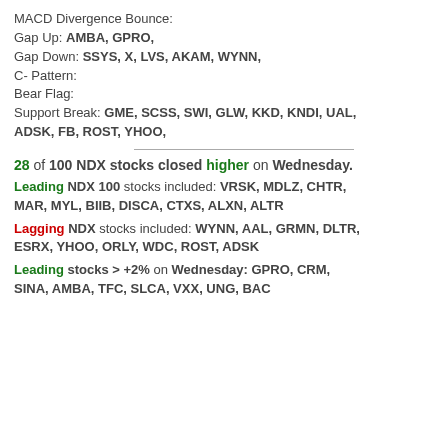MACD Divergence Bounce:
Gap Up: AMBA, GPRO,
Gap Down: SSYS, X, LVS, AKAM, WYNN,
C- Pattern:
Bear Flag:
Support Break: GME, SCSS, SWI, GLW, KKD, KNDI, UAL, ADSK, FB, ROST, YHOO,
28 of 100 NDX stocks closed higher on Wednesday.
Leading NDX 100 stocks included: VRSK, MDLZ, CHTR, MAR, MYL, BIIB, DISCA, CTXS, ALXN, ALTR
Lagging NDX stocks included: WYNN, AAL, GRMN, DLTR, ESRX, YHOO, ORLY, WDC, ROST, ADSK
Leading stocks > +2% on Wednesday: GPRO, CRM, SINA, AMBA, TFC, SLCA, VXX, UNG, BAC